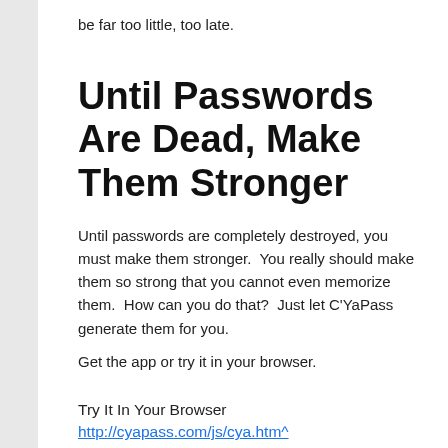be far too little, too late.
Until Passwords Are Dead, Make Them Stronger
Until passwords are completely destroyed, you must make them stronger.  You really should make them so strong that you cannot even memorize them.  How can you do that?  Just let C'YaPass generate them for you.
Get the app or try it in your browser.
Try It In Your Browser
http://cyapass.com/js/cya.htm^
Here's where you can get the iPhone/iPad, Android and Windows versions: